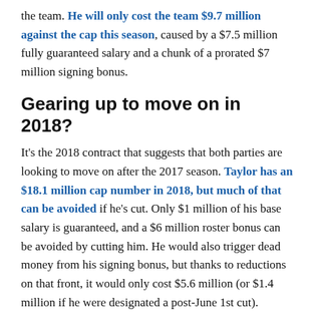the team. He will only cost the team $9.7 million against the cap this season, caused by a $7.5 million fully guaranteed salary and a chunk of a prorated $7 million signing bonus.
Gearing up to move on in 2018?
It's the 2018 contract that suggests that both parties are looking to move on after the 2017 season. Taylor has an $18.1 million cap number in 2018, but much of that can be avoided if he's cut. Only $1 million of his base salary is guaranteed, and a $6 million roster bonus can be avoided by cutting him. He would also trigger dead money from his signing bonus, but thanks to reductions on that front, it would only cost $5.6 million (or $1.4 million if he were designated a post-June 1st cut).